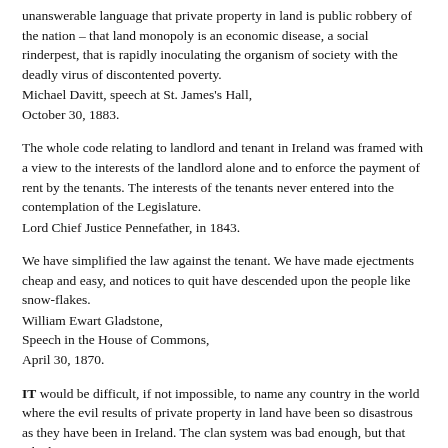unanswerable language that private property in land is public robbery of the nation – that land monopoly is an economic disease, a social rinderpest, that is rapidly inoculating the organism of society with the deadly virus of discontented poverty.
Michael Davitt, speech at St. James's Hall, October 30, 1883.
The whole code relating to landlord and tenant in Ireland was framed with a view to the interests of the landlord alone and to enforce the payment of rent by the tenants. The interests of the tenants never entered into the contemplation of the Legislature.
Lord Chief Justice Pennefather, in 1843.
We have simplified the law against the tenant. We have made ejectments cheap and easy, and notices to quit have descended upon the people like snow-flakes.
William Ewart Gladstone, Speech in the House of Commons, April 30, 1870.
IT would be difficult, if not impossible, to name any country in the world where the evil results of private property in land have been so disastrous as they have been in Ireland. The clan system was bad enough, but that which